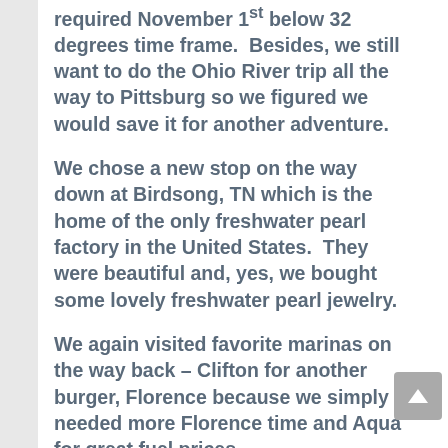required November 1st below 32 degrees time frame.  Besides, we still want to do the Ohio River trip all the way to Pittsburg so we figured we would save it for another adventure.
We chose a new stop on the way down at Birdsong, TN which is the home of the only freshwater pearl factory in the United States.  They were beautiful and, yes, we bought some lovely freshwater pearl jewelry.
We again visited favorite marinas on the way back – Clifton for another burger, Florence because we simply needed more Florence time and Aqua for great fuel prices.
Down the Tenn-Tom